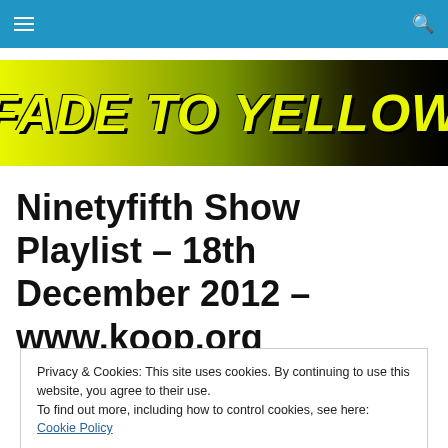Navigation bar with hamburger menu and search icon
[Figure (illustration): Fade To Yellow banner logo with large italic bold yellow-green text on a dark gradient background]
Ninetyfifth Show Playlist – 18th December 2012 – www.koop.org
Privacy & Cookies: This site uses cookies. By continuing to use this website, you agree to their use. To find out more, including how to control cookies, see here: Cookie Policy
Close and accept